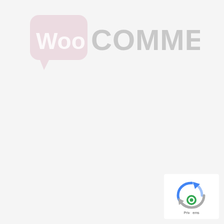[Figure (logo): WooCommerce logo: speech bubble icon in light pink with 'Woo' text, followed by 'COMMERCE' in light gray capital letters]
[Figure (logo): Google reCAPTCHA badge with blue/green circular arrow icon and green circle icon, with text 'Privacy Terms']